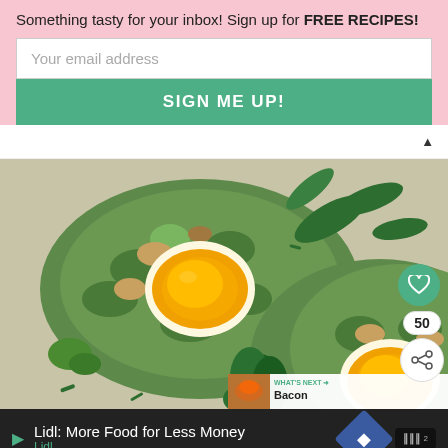Something tasty for your inbox! Sign up for FREE RECIPES!
Your email address
SIGN ME UP!
[Figure (photo): Overhead view of baked cauliflower and spinach nests with egg yolks on parchment paper, garnished with fresh basil leaves and green sauce]
50
WHAT'S NEXT → Bacon
Lidl: More Food for Less Money
Lidl